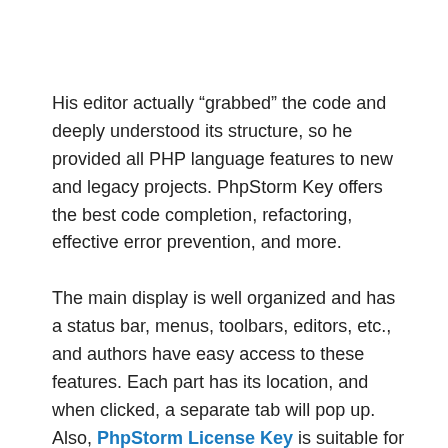His editor actually “grabbed” the code and deeply understood its structure, so he provided all PHP language features to new and legacy projects. PhpStorm Key offers the best code completion, refactoring, effective error prevention, and more.
The main display is well organized and has a status bar, menus, toolbars, editors, etc., and authors have easy access to these features. Each part has its location, and when clicked, a separate tab will pop up. Also, PhpStorm License Key is suitable for simple, highly complex projects and support multiple workloads. You can also transfer from one task to another to help users optimize their workflow. The Smart Code Assist feature is fast and effective, allowing you to perform detailed validation of your type. If you’re